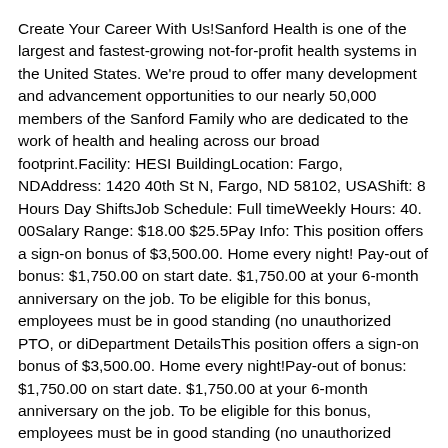Create Your Career With Us!Sanford Health is one of the largest and fastest-growing not-for-profit health systems in the United States. We're proud to offer many development and advancement opportunities to our nearly 50,000 members of the Sanford Family who are dedicated to the work of health and healing across our broad footprint.Facility: HESI BuildingLocation: Fargo, NDAddress: 1420 40th St N, Fargo, ND 58102, USAShift: 8 Hours Day ShiftsJob Schedule: Full timeWeekly Hours: 40. 00Salary Range: $18.00 $25.5Pay Info: This position offers a sign-on bonus of $3,500.00. Home every night! Pay-out of bonus: $1,750.00 on start date. $1,750.00 at your 6-month anniversary on the job. To be eligible for this bonus, employees must be in good standing (no unauthorized PTO, or diDepartment DetailsThis position offers a sign-on bonus of $3,500.00. Home every night!Pay-out of bonus: $1,750.00 on start date. $1,750.00 at your 6-month anniversary on the job. To be eligible for this bonus, employees must be in good standing (no unauthorized PTO, or disciplinary action).Occasional weekends, day shift.Job SummaryDrive specific and designated vehicle to transport and deliver goods, services, equipment and/or